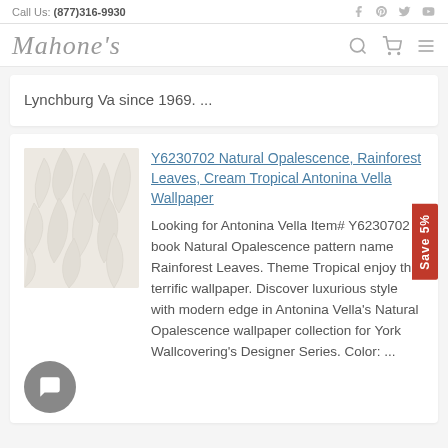Call Us: (877)316-9930
[Figure (logo): Mahone's script logo with search, cart, and menu icons]
Lynchburg Va since 1969. ...
Y6230702 Natural Opalescence, Rainforest Leaves, Cream Tropical Antonina Vella Wallpaper
Looking for Antonina Vella Item# Y6230702 book Natural Opalescence pattern name Rainforest Leaves. Theme Tropical enjoy this terrific wallpaper. Discover luxurious style with modern edge in Antonina Vella's Natural Opalescence wallpaper collection for York Wallcovering's Designer Series. Color: ...